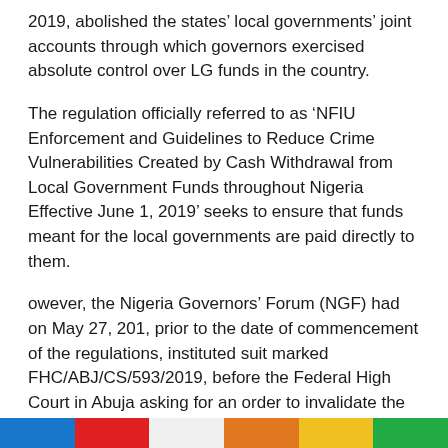2019, abolished the states' local governments' joint accounts through which governors exercised absolute control over LG funds in the country.
The regulation officially referred to as 'NFIU Enforcement and Guidelines to Reduce Crime Vulnerabilities Created by Cash Withdrawal from Local Government Funds throughout Nigeria Effective June 1, 2019' seeks to ensure that funds meant for the local governments are paid directly to them.
owever, the Nigeria Governors' Forum (NGF) had on May 27, 201, prior to the date of commencement of the regulations, instituted suit marked FHC/ABJ/CS/593/2019, before the Federal High Court in Abuja asking for an order to invalidate the regulations for being unconstitutional, null and void.